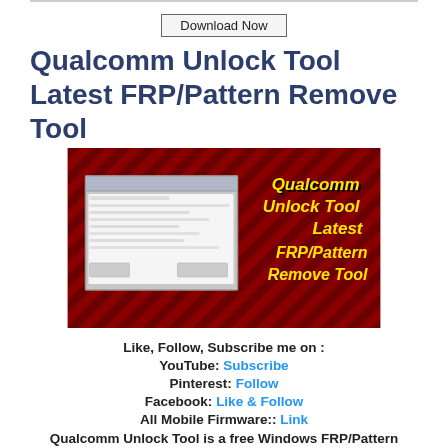Download Now
Qualcomm Unlock Tool Latest FRP/Pattern Remove Tool
[Figure (photo): Promotional image for Qualcomm Unlock Tool showing a Windows software screenshot on the left and yellow bold italic text 'Qualcomm Unlock Tool Latest FRP/Pattern Remove Tool' on a red diagonal hatched background on the right.]
Like, Follow, Subscribe me on :
YouTube: Subscribe
Pinterest: Follow
Facebook: Like & Follow
All Mobile Firmware:: Link
Qualcomm Unlock Tool is a free Windows FRP/Pattern